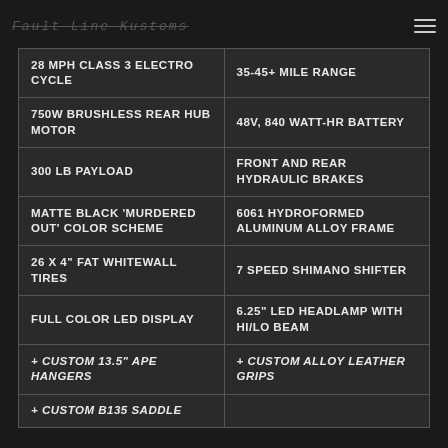Fault Line Kustoms
| 28 MPH CLASS 3 ELECTRO CYCLE | 35-45+ MILE RANGE |
| 750W BRUSHLESS REAR HUB MOTOR | 48V, 840 WATT-HR BATTERY |
| 300 LB PAYLOAD | FRONT AND REAR HYDRAULIC BRAKES |
| MATTE BLACK 'MURDERED OUT' COLOR SCHEME | 6061 HYDROFORMED ALUMINUM ALLOY FRAME |
| 26 X 4" FAT WHITEWALL TIRES | 7 SPEED SHIMANO SHIFTER |
| FULL COLOR LED DISPLAY | 6.25" LED HEADLAMP WITH HI/LO BEAM |
| + CUSTOM 13.5" APE HANGERS | + CUSTOM ALLOY LEATHER GRIPS |
| + CUSTOM B135 SADDLE |  |